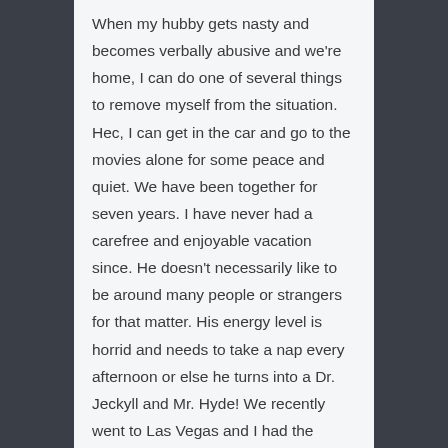When my hubby gets nasty and becomes verbally abusive and we're home, I can do one of several things to remove myself from the situation. Hec, I can get in the car and go to the movies alone for some peace and quiet. We have been together for seven years. I have never had a carefree and enjoyable vacation since. He doesn't necessarily like to be around many people or strangers for that matter. His energy level is horrid and needs to take a nap every afternoon or else he turns into a Dr. Jeckyll and Mr. Hyde! We recently went to Las Vegas and I had the